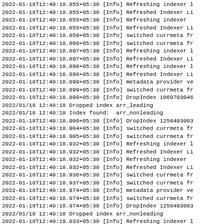2022-01-18T12:40:18.855+05:30 [Info] Refreshing indexer l
2022-01-18T12:40:18.855+05:30 [Info] Refreshed Indexer Li
2022-01-18T12:40:18.855+05:30 [Info] Refreshing indexer
2022-01-18T12:40:18.855+05:30 [Info] Refreshed Indexer Li
2022-01-18T12:40:18.859+05:30 [Info] switched currmeta fr
2022-01-18T12:40:18.860+05:30 [Info] switched currmeta fr
2022-01-18T12:40:18.897+05:30 [Info] Refreshing indexer l
2022-01-18T12:40:18.897+05:30 [Info] Refreshed Indexer Li
2022-01-18T12:40:18.898+05:30 [Info] Refreshing indexer l
2022-01-18T12:40:18.898+05:30 [Info] Refreshed Indexer Li
2022-01-18T12:40:18.899+05:30 [Info] metadata provider ve
2022-01-18T12:40:18.899+05:30 [Info] switched currmeta fr
2022-01-18T12:40:18.899+05:30 [Info] DropIndex 106970304
2022/01/18 12:40:18 Dropped index arr_leading
2022/01/18 12:40:18 Index found:  arr_nonleading
2022-01-18T12:40:18.900+05:30 [Info] DropIndex 125849300
2022-01-18T12:40:18.904+05:30 [Info] switched currmeta fr
2022-01-18T12:40:18.905+05:30 [Info] switched currmeta fr
2022-01-18T12:40:18.932+05:30 [Info] Refreshing indexer l
2022-01-18T12:40:18.932+05:30 [Info] Refreshed Indexer Li
2022-01-18T12:40:18.932+05:30 [Info] Refreshing indexer
2022-01-18T12:40:18.932+05:30 [Info] Refreshed Indexer Li
2022-01-18T12:40:18.936+05:30 [Info] switched currmeta fr
2022-01-18T12:40:18.937+05:30 [Info] switched currmeta fr
2022-01-18T12:40:18.974+05:30 [Info] metadata provider ve
2022-01-18T12:40:18.974+05:30 [Info] switched currmeta fr
2022-01-18T12:40:18.974+05:30 [Info] DropIndex 125849300
2022/01/18 12:40:18 Dropped index arr_nonleading
2022-01-18T12:40:19.033+05:30 [Info] Refreshing indexer l
2022-01-18T12:40:19.033+05:30 [Info] Refreshed Indexer